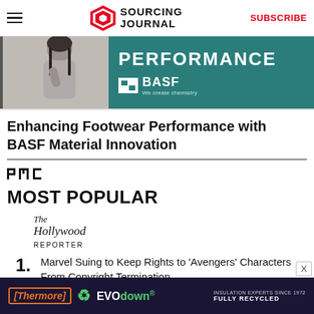Sourcing Journal — SUBSCRIBE
[Figure (photo): Advertisement banner showing a person with dark hair and a BASF teal background with text 'PERFORMANCE' and BASF logo 'We create chemistry']
Enhancing Footwear Performance with BASF Material Innovation
[Figure (logo): PMC logo]
MOST POPULAR
[Figure (logo): The Hollywood Reporter logo]
1. Marvel Suing to Keep Rights to 'Avengers' Characters From Copyright Termination
[Figure (logo): SheKnows logo]
[Figure (advertisement): Thermore EVO down Insulation Experts Since 1972 Fully Recycled advertisement banner]